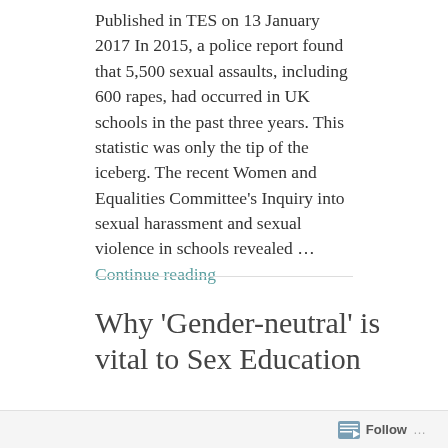Published in TES on 13 January 2017 In 2015, a police report found that 5,500 sexual assaults, including 600 rapes, had occurred in UK schools in the past three years. This statistic was only the tip of the iceberg. The recent Women and Equalities Committee's Inquiry into sexual harassment and sexual violence in schools revealed … Continue reading
Why 'Gender-neutral' is vital to Sex Education
SEPTEMBER 8, 2017 ~ LEAVE A COMMENT